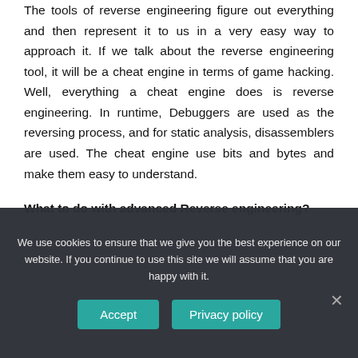The tools of reverse engineering figure out everything and then represent it to us in a very easy way to approach it. If we talk about the reverse engineering tool, it will be a cheat engine in terms of game hacking. Well, everything a cheat engine does is reverse engineering. In runtime, Debuggers are used as the reversing process, and for static analysis, disassemblers are used. The cheat engine use bits and bytes and make them easy to understand.
What to do with advanced Reverse engineering?
We use cookies to ensure that we give you the best experience on our website. If you continue to use this site we will assume that you are happy with it.